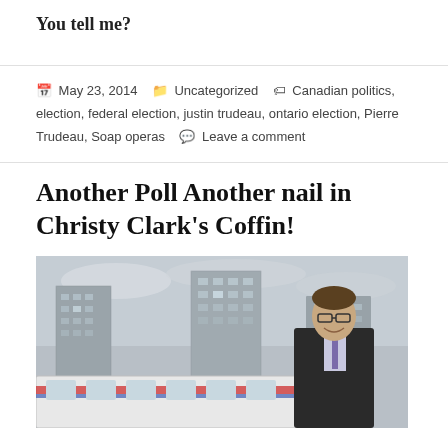You tell me?
May 23, 2014   Uncategorized   Canadian politics, election, federal election, justin trudeau, ontario election, Pierre Trudeau, Soap operas   Leave a comment
Another Poll Another nail in Christy Clark's Coffin!
[Figure (photo): A man in a dark suit and purple tie smiling outdoors, with urban high-rise buildings and a transit vehicle in the background under a cloudy sky.]